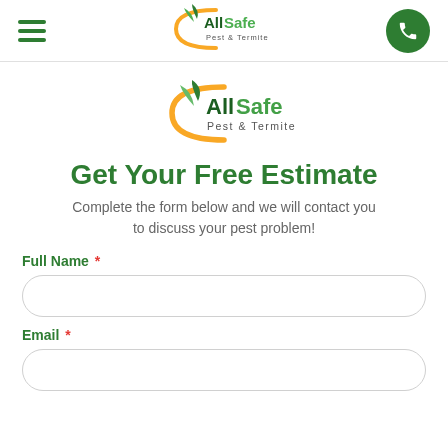[Figure (logo): AllSafe Pest & Termite logo in nav bar with hamburger menu and phone button]
[Figure (logo): AllSafe Pest & Termite logo centered in content area]
Get Your Free Estimate
Complete the form below and we will contact you to discuss your pest problem!
Full Name *
Email *